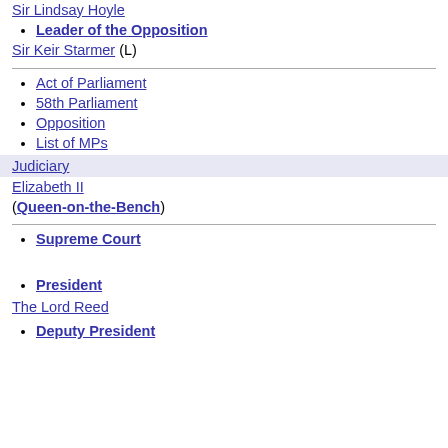Sir Lindsay Hoyle
Leader of the Opposition
Sir Keir Starmer (L)
Act of Parliament
58th Parliament
Opposition
List of MPs
Judiciary
Elizabeth II (Queen-on-the-Bench)
Supreme Court
President
The Lord Reed
Deputy President